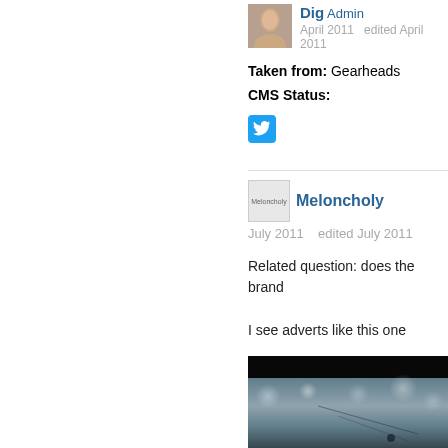Dig Admin — April 2011 edited April 2011
Taken from: Gearheads
CMS Status:
[Figure (other): Twitter share button icon (blue bird)]
Meloncholy — July 2011 edited July 2011
Related question: does the brand
I see adverts like this one
[Figure (photo): Dark photo showing metallic cylindrical surface with bokeh light reflections, possibly a car wheel or drum against black background]